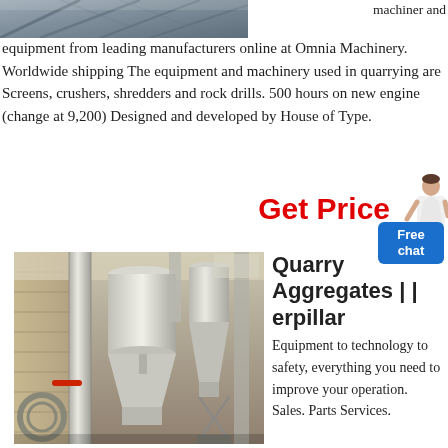[Figure (photo): Top partial image of industrial/quarry machinery, grey tones, diagonal structural elements visible]
machiner and equipment from leading manufacturers online at Omnia Machinery. Worldwide shipping The equipment and machinery used in quarrying are Screens, crushers, shredders and rock drills. 500 hours on new engine (change at 9,200) Designed and developed by House of Type.
Get Price
[Figure (photo): Industrial milling/grinding machinery in a warehouse setting, showing white cylindrical hoppers, pipes, and processing equipment]
Quarry Aggregates | | erpillar Equipment to technology to safety, everything you need to improve your operation. Sales. Parts Services.